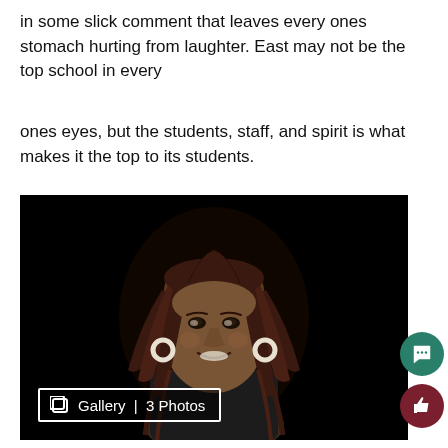in some slick comment that leaves every ones stomach hurting from laughter. East may not be the top school in every
ones eyes, but the students, staff, and spirit is what makes it the top to its students.
[Figure (photo): A woman with long braided hair smiling against a black background. A gallery badge reads 'Gallery | 3 Photos' in the lower left corner. Two circular buttons (chat and like) appear at the bottom right.]